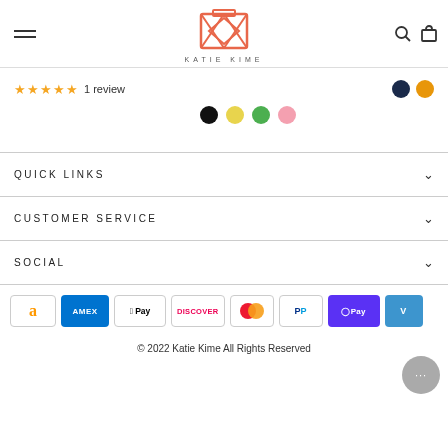[Figure (logo): Katie Kime brand logo - geometric suitcase design in coral/salmon color with KATIE KIME text below]
★★★★★  1 review
Color swatches: black, yellow, green, pink (and navy, orange on right)
QUICK LINKS
CUSTOMER SERVICE
SOCIAL
[Figure (infographic): Payment method icons: Amazon, Amex, Apple Pay, Discover, Mastercard, PayPal, Shop Pay, Venmo]
© 2022 Katie Kime All Rights Reserved